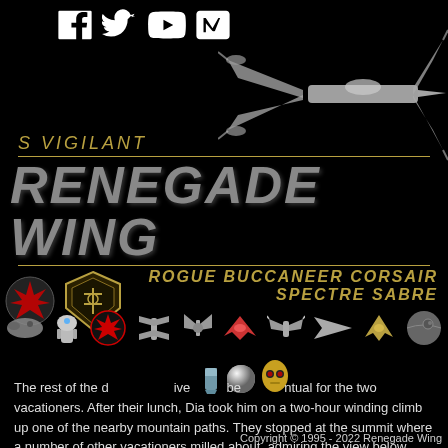[Figure (logo): Social media icons: Facebook, Twitter, YouTube, Discord]
[Figure (illustration): X-Wing starfighter illustration, grayscale, top right corner]
S VIGILANT / RENEGADE WING
ROGUE BUCCANEER CORSAIR / SPECTRE SABRE
[Figure (logo): Rebel Alliance logo and Renegade Wing shield emblem]
[Figure (illustration): Navigation icon row: various Star Wars ships, characters and icons including Millennium Falcon, R2-D2, Rebel Alliance symbol, X-wing, various starfighters, Death Star]
The rest of the d ive be ntual for the two vacationers. After their lunch, Dia took him on a two-hour winding climb up one of the nearby mountain paths. They stopped at the summit where a number of other vacationers milled about, admiring the view below. Standing on one of the metal lookout pads, Andrew and Dia admired
Copyright © 1995 - 2022 Renegade Wing